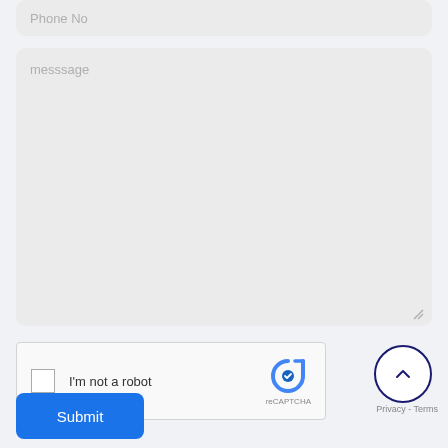Phone No
messsage
[Figure (screenshot): reCAPTCHA widget with checkbox 'I'm not a robot' and reCAPTCHA logo]
[Figure (other): Scroll to top button — dark blue circle with upward chevron arrow]
Privacy - Terms
Submit